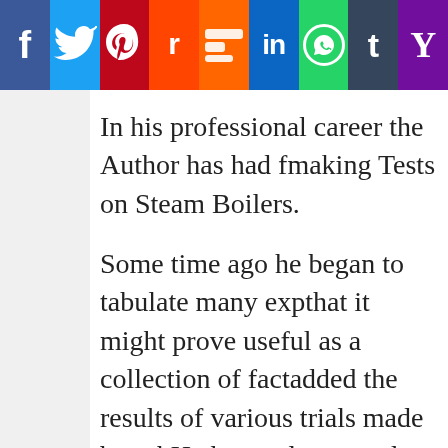[Figure (infographic): Social media sharing bar with icons for Facebook, Twitter, Pinterest, Reddit, Mix, LinkedIn, WhatsApp, Tumblr, and Yahoo]
In his professional career the Author has had frequent opportunities of making Tests on Steam Boilers.
Some time ago he began to tabulate many experiences, thinking that it might prove useful as a collection of facts, and to this he added the results of various trials made by others in this branch. He has endeavoured to make the book as practical as possible for those interested in the economical production of steam. Coal, for 150 years, is not touched upon, as it would be misleading, and even misleading, unless the heating values and efficiency are given. Many engineers are satisfied with lbs. per lb. of fuel ; but, considering how largely fuel costs matter, such tests cannot be regarded as satisfactory. The shape of fuel, the greater part of which is useful in sizes large or small, is wasted. Many manufacturers